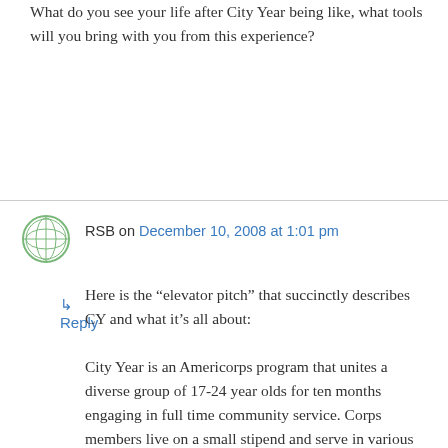What do you see your life after City Year being like, what tools will you bring with you from this experience?
↳ Reply
RSB on December 10, 2008 at 1:01 pm
Here is the “elevator pitch” that succinctly describes CY and what it’s all about:
City Year is an Americorps program that unites a diverse group of 17-24 year olds for ten months engaging in full time community service. Corps members live on a small stipend and serve in various under-served/underprivileged schools doing mentoring, tutoring, in-class small group instruction, lunch-clubs and most importantly